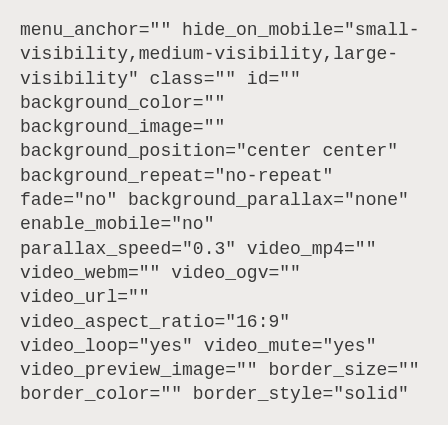menu_anchor="" hide_on_mobile="small-visibility,medium-visibility,large-visibility" class="" id="" background_color="" background_image="" background_position="center center" background_repeat="no-repeat" fade="no" background_parallax="none" enable_mobile="no" parallax_speed="0.3" video_mp4="" video_webm="" video_ogv="" video_url="" video_aspect_ratio="16:9" video_loop="yes" video_mute="yes" video_preview_image="" border_size="" border_color="" border_style="solid"
We use cookies on our website to give you the most relevant experience by remembering your preferences and repeat visits. By clicking "Accept", you consent to the use of ALL the cookies.
Cookie Settings | Accept | Reject All